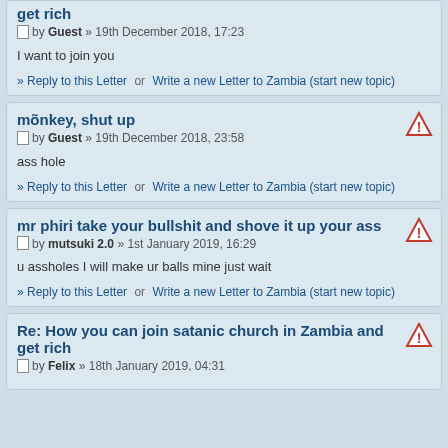get rich
by Guest » 19th December 2018, 17:23
I want to join you
» Reply to this Letter   or   Write a new Letter to Zambia (start new topic)
mõnkey, shut up
by Guest » 19th December 2018, 23:58
ass hole
» Reply to this Letter   or   Write a new Letter to Zambia (start new topic)
mr phiri take your bullshit and shove it up your ass
by mutsuki 2.0 » 1st January 2019, 16:29
u assholes I will make ur balls mine just wait
» Reply to this Letter   or   Write a new Letter to Zambia (start new topic)
Re: How you can join satanic church in Zambia and get rich
by Felix » 18th January 2019, 04:31